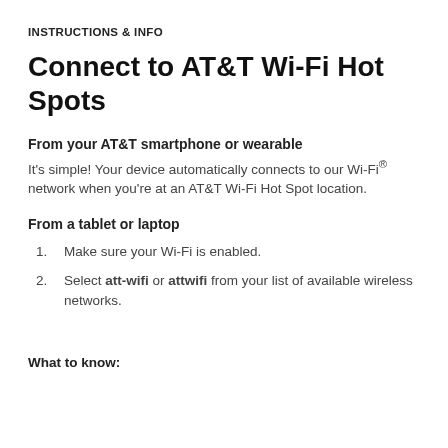INSTRUCTIONS & INFO
Connect to AT&T Wi-Fi Hot Spots
From your AT&T smartphone or wearable
It's simple! Your device automatically connects to our Wi-Fi® network when you're at an AT&T Wi-Fi Hot Spot location.
From a tablet or laptop
Make sure your Wi-Fi is enabled.
Select att-wifi or attwifi from your list of available wireless networks.
What to know: